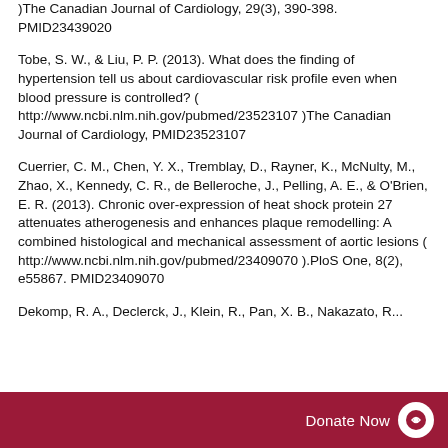)The Canadian Journal of Cardiology, 29(3), 390-398. PMID23439020
Tobe, S. W., & Liu, P. P. (2013). What does the finding of hypertension tell us about cardiovascular risk profile even when blood pressure is controlled? ( http://www.ncbi.nlm.nih.gov/pubmed/23523107 )The Canadian Journal of Cardiology, PMID23523107
Cuerrier, C. M., Chen, Y. X., Tremblay, D., Rayner, K., McNulty, M., Zhao, X., Kennedy, C. R., de Belleroche, J., Pelling, A. E., & O'Brien, E. R. (2013). Chronic over-expression of heat shock protein 27 attenuates atherogenesis and enhances plaque remodelling: A combined histological and mechanical assessment of aortic lesions ( http://www.ncbi.nlm.nih.gov/pubmed/23409070 ).PloS One, 8(2), e55867. PMID23409070
Dekomp, R. A., Declerck, J., Klein, R., Pan, X. B., Nakazato, R...
Donate Now